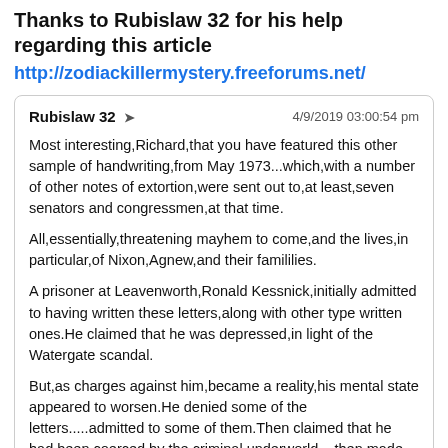Thanks to Rubislaw 32 for his help regarding this article
http://zodiackillermystery.freeforums.net/
Rubislaw 32 ➤  4/9/2019 03:00:54 pm
Most interesting,Richard,that you have featured this other sample of handwriting,from May 1973...which,with a number of other notes of extortion,were sent out to,at least,seven senators and congressmen,at that time.
All,essentially,threatening mayhem to come,and the lives,in particular,of Nixon,Agnew,and their famililies.
A prisoner at Leavenworth,Ronald Kessnick,initially admitted to having written these letters,along with other type written ones.He claimed that he was depressed,in light of the Watergate scandal.
But,as charges against him,became a reality,his mental state appeared to worsen.He denied some of the letters.....admitted to some of them.Then claimed that he had been coerced,by the criminal underworld....then made attempts to dismiss his